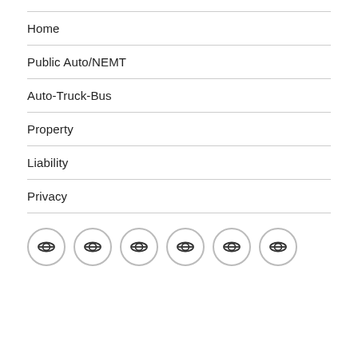Home
Public Auto/NEMT
Auto-Truck-Bus
Property
Liability
Privacy
[Figure (other): Row of 6 circular social media icon buttons with eye/dollar-sign style icons and circular borders]